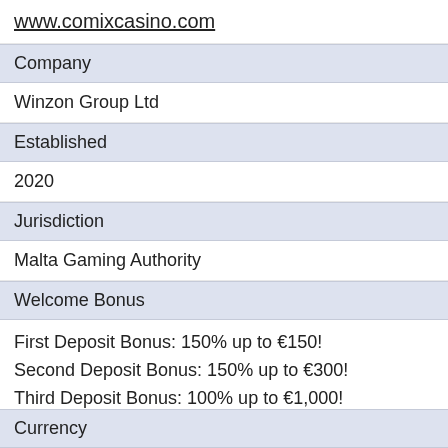www.comixcasino.com
Company
Winzon Group Ltd
Established
2020
Jurisdiction
Malta Gaming Authority
Welcome Bonus
First Deposit Bonus: 150% up to €150!
Second Deposit Bonus: 150% up to €300!
Third Deposit Bonus: 100% up to €1,000!
Join Comix Casino
Currency